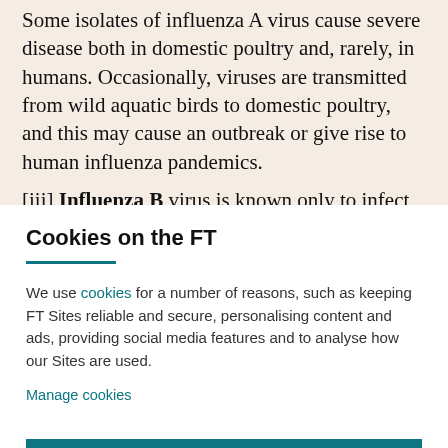Some isolates of influenza A virus cause severe disease both in domestic poultry and, rarely, in humans. Occasionally, viruses are transmitted from wild aquatic birds to domestic poultry, and this may cause an outbreak or give rise to human influenza pandemics. [iii] Influenza B virus is known only to infect humans and
Cookies on the FT
We use cookies for a number of reasons, such as keeping FT Sites reliable and secure, personalising content and ads, providing social media features and to analyse how our Sites are used.
Manage cookies
Accept & continue